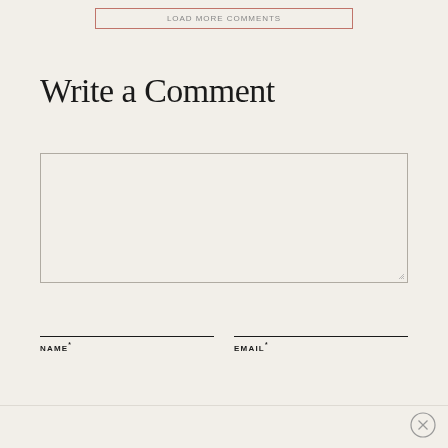LOAD MORE COMMENTS
Write a Comment
[Figure (other): Empty comment text area input box with resize handle]
NAME*
EMAIL*
[Figure (other): Close button circle with X]